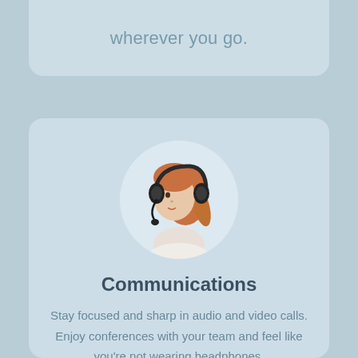wherever you go.
[Figure (photo): Circular portrait of a red-haired woman wearing a black gaming/communications headset with microphone, white top, on a light background]
Communications
Stay focused and sharp in audio and video calls. Enjoy conferences with your team and feel like you're not wearing headphones.